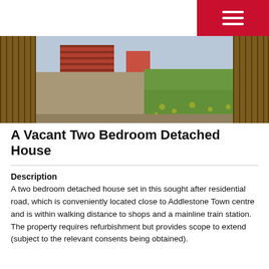[Figure (photo): Exterior photo of the rear garden/yard of a two bedroom detached house, showing wooden fencing on both sides, a concrete path on the left, overgrown grass and weeds with yellow dandelions on the right, and a brick building visible in the background.]
A Vacant Two Bedroom Detached House
Description
A two bedroom detached house set in this sought after residential road, which is conveniently located close to Addlestone Town centre and is within walking distance to shops and a mainline train station. The property requires refurbishment but provides scope to extend (subject to the relevant consents being obtained).